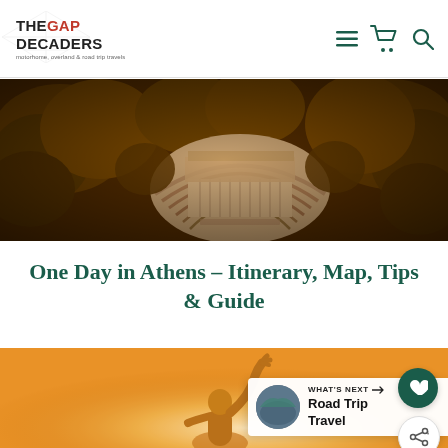THE GAP DECADERS – motorhome, overland & road trip travels
[Figure (photo): Aerial view of ancient Greek amphitheater (Odeon of Herodes Atticus) surrounded by trees in warm golden light]
One Day in Athens – Itinerary, Map, Tips & Guide
[Figure (photo): Person raising hand in sunny golden light, bottom of page]
WHAT'S NEXT → Road Trip Travel